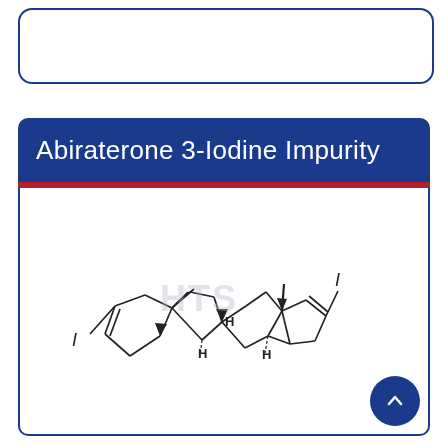Abiraterone 3-Iodine Impurity
[Figure (schematic): Chemical structure of Abiraterone 3-Iodine Impurity showing a steroid backbone with two iodine substituents (I) - one at position 3 on the A-ring cyclohexene and one at position 17 on the D-ring cyclopentadiene. Stereocenters are indicated with bold/dashed bonds, and hydrogen atoms are shown at ring junctions (H labels). A watermark 'HTS' is faintly visible over the structure.]